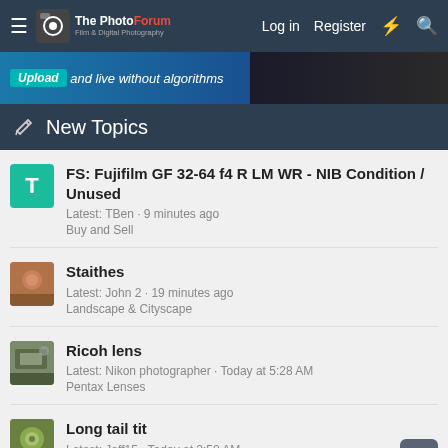The PhotoForum — Film & Digital Photography
[Figure (screenshot): Advertisement banner: Upload and live without algorithms]
New Topics
FS: Fujifilm GF 32-64 f4 R LM WR - NIB Condition / Unused
Latest: TBen · 9 minutes ago
Buy and Sell
Staithes
Latest: John 2 · 19 minutes ago
Landscape & Cityscape
Ricoh lens
Latest: Nikon photographer · Today at 5:28 AM
Pentax Lenses
Long tail tit
Latest: Jeff15 · Today at 2:50 AM
Nature & Wildlife